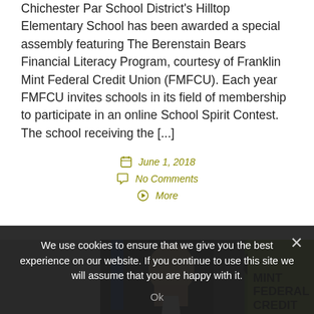Chichester Par School District's Hilltop Elementary School has been awarded a special assembly featuring The Berenstain Bears Financial Literacy Program, courtesy of Franklin Mint Federal Credit Union (FMFCU). Each year FMFCU invites schools in its field of membership to participate in an online School Spirit Contest. The school receiving the [...]
June 1, 2018
No Comments
More
[Figure (photo): Two people smiling — a bald man in a dark suit on the left and a woman with dark hair on the right — standing in front of a Franklin Mint Federal Credit Union banner (partially visible, showing 'MINT FEDERAL CREDIT'). There is a blue flag visible in the background on the left.]
We use cookies to ensure that we give you the best experience on our website. If you continue to use this site we will assume that you are happy with it.
Ok